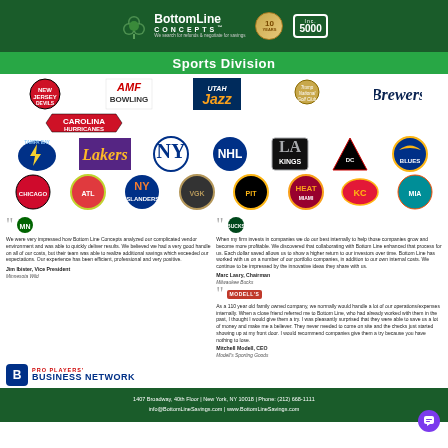BottomLine Concepts - Sports Division
Sports Division
[Figure (logo): Grid of sports team and organization logos including New Jersey Devils, AMF Bowling, Utah Jazz, Trump National Golf Club, Milwaukee Brewers, Carolina Hurricanes, Tampa Bay Lightning, LA Lakers, New York Yankees, NHL, LA Kings, DC United, St. Louis Blues, Chicago Blackhawks, Atlanta Hawks, NY Islanders, Vegas Golden Knights, Pittsburgh Penguins, Miami Heat, Kansas City Chiefs, Miami Dolphins]
We were very impressed how Bottom Line Concepts analyzed our complicated vendor environment and was able to quickly deliver results. We believed we had a very good handle on all of our costs, but their team was able to realize additional savings which exceeded our expectations. Our experience has been efficient, professional and very positive.
Jim Ibister, Vice President
Minnesota Wild
When my firm invests in companies we do our best internally to help those companies grow and become more profitable. We discovered that collaborating with Bottom Line enhanced that process for us. Each dollar saved allows us to show a higher return to our investors over time. Bottom Line has worked with us on a number of our portfolio companies, in addition to our own internal costs. We continue to be impressed by the innovative ideas they share with us.
Marc Lasry, Chairman
Milwaukee Bucks
As a 110 year old family owned company, we normally would handle a lot of our operations/expenses internally. When a close friend referred me to Bottom Line, who had already worked with them in the past, I thought I would give them a try. I was pleasantly surprised that they were able to save us a lot of money and make me a believer. They never needed to come on site and the checks just started showing up at my front door. I would recommend companies give them a try because you have nothing to lose.
Mitchell Modell, CEO
Modell's Sporting Goods
[Figure (logo): Pro Players Business Network logo]
1407 Broadway, 40th Floor | New York, NY 10018 | Phone: (212) 668-1111
info@BottomLineSavings.com | www.BottomLineSavings.com